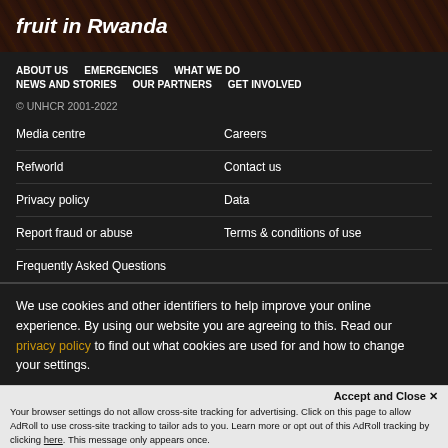fruit in Rwanda
ABOUT US   EMERGENCIES   WHAT WE DO
NEWS AND STORIES   OUR PARTNERS   GET INVOLVED
© UNHCR 2001-2022
Media centre
Careers
Refworld
Contact us
Privacy policy
Data
Report fraud or abuse
Terms & conditions of use
Frequently Asked Questions
We use cookies and other identifiers to help improve your online experience. By using our website you are agreeing to this. Read our privacy policy to find out what cookies are used for and how to change your settings.
Accept and Close ✕
Your browser settings do not allow cross-site tracking for advertising. Click on this page to allow AdRoll to use cross-site tracking to tailor ads to you. Learn more or opt out of this AdRoll tracking by clicking here. This message only appears once.